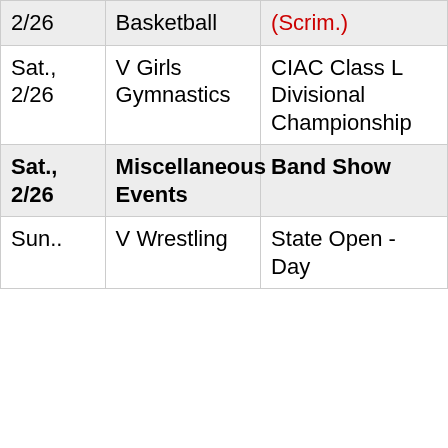| 2/26 | Basketball | (Scrim.) |
| Sat., 2/26 | V Girls Gymnastics | CIAC Class L Divisional Championship |
| Sat., 2/26 | Miscellaneous Events | Band Show |
| Sun.. | V Wrestling | State Open - Day |